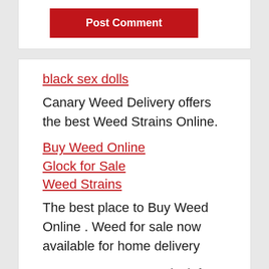[Figure (screenshot): Post Comment button, red background with white bold text]
black sex dolls
Canary Weed Delivery offers the best Weed Strains Online.
Buy Weed Online
Glock for Sale
Weed Strains
The best place to Buy Weed Online . Weed for sale now available for home delivery
Do you own a gun? Glock for sale ie now available for purchase securely